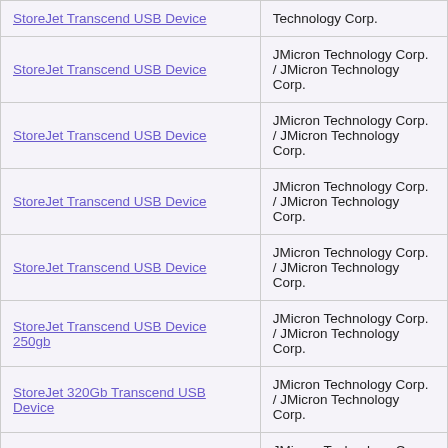| Device Name | Vendor |
| --- | --- |
| StoreJet Transcend USB Device | JMicron Technology Corp. / JMicron Technology Corp. |
| StoreJet Transcend USB Device | JMicron Technology Corp. / JMicron Technology Corp. |
| StoreJet Transcend USB Device | JMicron Technology Corp. / JMicron Technology Corp. |
| StoreJet Transcend USB Device | JMicron Technology Corp. / JMicron Technology Corp. |
| StoreJet Transcend USB Device 250gb | JMicron Technology Corp. / JMicron Technology Corp. |
| StoreJet 320Gb Transcend USB Device | JMicron Technology Corp. / JMicron Technology Corp. |
| StoreJet Transcend EXT HDD 25M | JMicron Technology Corp. / JMicron Technology Corp. |
| StoreJet Transcend TS160GSJ25M | JMicron Technology Corp. / JMicron Technology Corp. |
| StoreJet Transcend TS160GSJ25M 160Gb USB Drive | JMicron Technology Corp. / JMicron Technology Corp. |
| StoreJet Transcend USB Device | JMicron Technology Corp. / JMicron Technology Corp. |